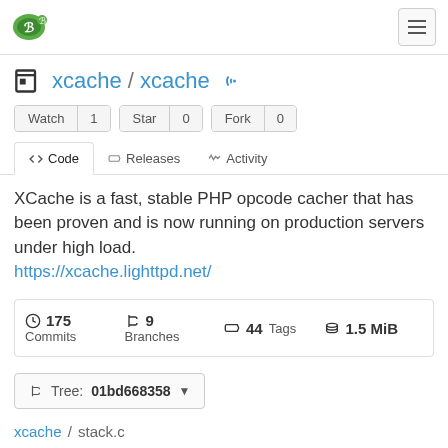xcache/xcache repository page header with logo and hamburger menu
xcache / xcache
Watch 1  Star 0  Fork 0
Code  Releases  Activity
XCache is a fast, stable PHP opcode cacher that has been proven and is now running on production servers under high load.
https://xcache.lighttpd.net/
175 Commits  9 Branches  44 Tags  1.5 MiB
Tree: 01bd668358
xcache / stack.c